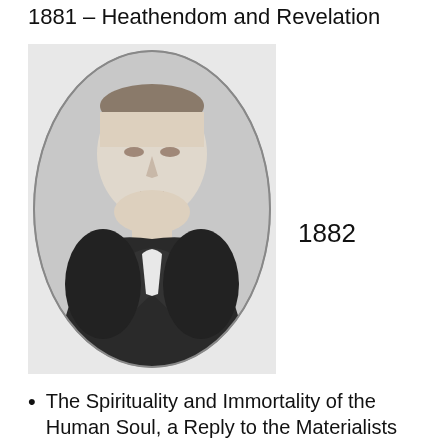1881 – Heathendom and Revelation
[Figure (photo): Oval black-and-white portrait photograph of a man in clerical collar and dark jacket, shown from the chest up.]
1882
The Spirituality and Immortality of the Human Soul, a Reply to the Materialists